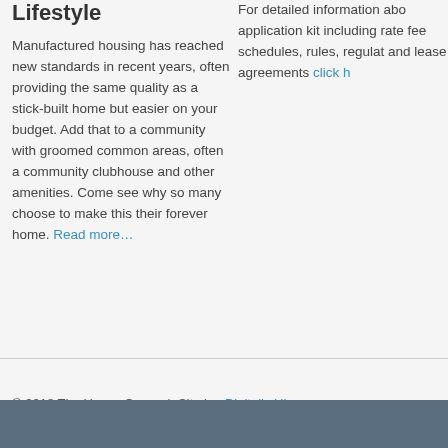Lifestyle
Manufactured housing has reached new standards in recent years, often providing the same quality as a stick-built home but easier on your budget. Add that to a community with groomed common areas, often a community clubhouse and other amenities. Come see why so many choose to make this their forever home. Read more…
For detailed information about application kit including rates, fee schedules, rules, regulations and lease agreements click here
© 2018 The Hynes Group  |  Site by: Digitally Hip